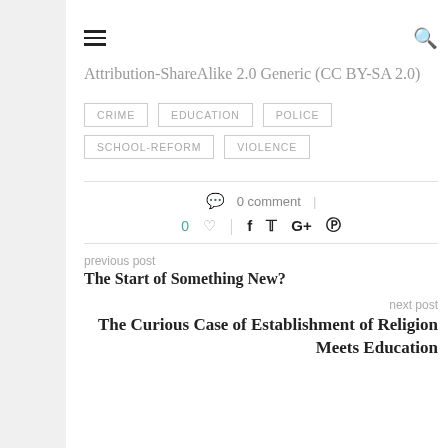≡    🔍
Attribution-ShareAlike 2.0 Generic (CC BY-SA 2.0)
CRIME
EDUCATION
POLICE
SCHOOL-REFORM
VIOLENCE
0 comment
0  ♡  |  f  𝕥  G+  𝒑
previous post
The Start of Something New?
next post
The Curious Case of Establishment of Religion Meets Education